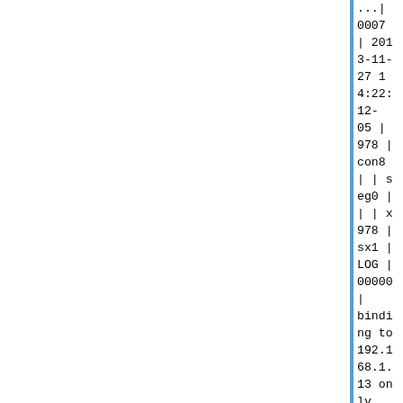...| 0007 | 2013-11-27 14:22:12-05 | 978 | con8
| | seg0 | | | x978 | sx1 | LOG | 00000 | binding to 192.168.1.13 only
| | | | | |
| 0 | | ic_tcp.c | 230 |
2013-11-27 14:21:12.91816-05 | gpadmin | gpadmin | p26210 | th-460380416 | 192.168.1.13 | 43429 | 2013-11-27 14:21:12-05 | 978 | con8
| | seg1 | | | x978 | sx1 | LOG | 00000 | binding to 192.168.1.13 only
| | | | | |
| 0 | | ic_tcp.c | 230 |
2013-11-28 08:41:19.141128-05 | gpadmin | gpadmin | p29778 | th1318504192 | [local] | | 2013-11-28 08:41:06-05 | 1115 | con10
| cmd1 | seg-1 | | dx5 | x1115 | sx1 | LOG | 00000 | statement: SELECT n.nspname AS "Name",
| | | | | | SELECT n.nspname AS "Name", | 0 | | postgres.c | 1542 |

: pg_catalog.pg_get_userbyid(n.nspowner) AS "Ow
ner" : pg_catalog.pg_get_userbyid(n.nspowner) AS "Owner"

: FROM pg_catalog.pg_namespace n
: FROM pg_catalog.pg_
namespace n